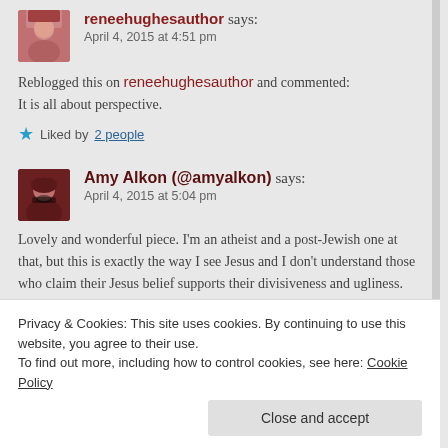reneehughesauthor says: April 4, 2015 at 4:51 pm
Reblogged this on reneehughesauthor and commented:
It is all about perspective.
Liked by 2 people
Amy Alkon (@amyalkon) says: April 4, 2015 at 5:04 pm
Lovely and wonderful piece. I'm an atheist and a post-Jewish one at that, but this is exactly the way I see Jesus and I don't understand those who claim their Jesus belief supports their divisiveness and ugliness.
Privacy & Cookies: This site uses cookies. By continuing to use this website, you agree to their use.
To find out more, including how to control cookies, see here: Cookie Policy
Close and accept